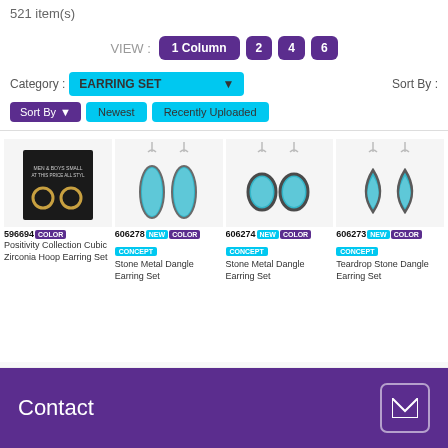521 item(s)
VIEW : 1 Column  2  4  6
Category : EARRING SET  Sort By :
Sort By  Newest  Recently Uploaded
[Figure (photo): Four product images of earring sets: Positivity Collection Cubic Zirconia Hoop Earring Set (596694), Stone Metal Dangle Earring Set (606278 NEW CONCEPT), Stone Metal Dangle Earring Set (606274 NEW CONCEPT), Teardrop Stone Dangle Earring Set (606273 NEW CONCEPT)]
596694 COLOR
Positivity Collection Cubic Zirconia Hoop Earring Set
606278 NEW COLOR CONCEPT
Stone Metal Dangle Earring Set
606274 NEW COLOR CONCEPT
Stone Metal Dangle Earring Set
606273 NEW COLOR CONCEPT
Teardrop Stone Dangle Earring Set
Contact